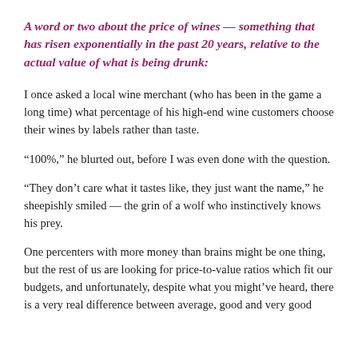A word or two about the price of wines — something that has risen exponentially in the past 20 years, relative to the actual value of what is being drunk:
I once asked a local wine merchant (who has been in the game a long time) what percentage of his high-end wine customers choose their wines by labels rather than taste.
“100%,” he blurted out, before I was even done with the question.
“They don’t care what it tastes like, they just want the name,” he sheepishly smiled — the grin of a wolf who instinctively knows his prey.
One percenters with more money than brains might be one thing, but the rest of us are looking for price-to-value ratios which fit our budgets, and unfortunately, despite what you might’ve heard, there is a very real difference between average, good and very good